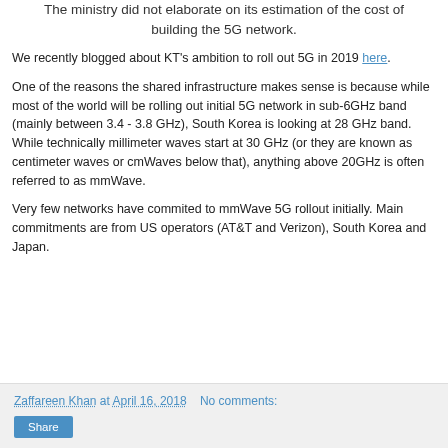The ministry did not elaborate on its estimation of the cost of building the 5G network.
We recently blogged about KT's ambition to roll out 5G in 2019 here.
One of the reasons the shared infrastructure makes sense is because while most of the world will be rolling out initial 5G network in sub-6GHz band (mainly between 3.4 - 3.8 GHz), South Korea is looking at 28 GHz band. While technically millimeter waves start at 30 GHz (or they are known as centimeter waves or cmWaves below that), anything above 20GHz is often referred to as mmWave.
Very few networks have commited to mmWave 5G rollout initially. Main commitments are from US operators (AT&T and Verizon), South Korea and Japan.
Zaffareen Khan at April 16, 2018   No comments:  Share